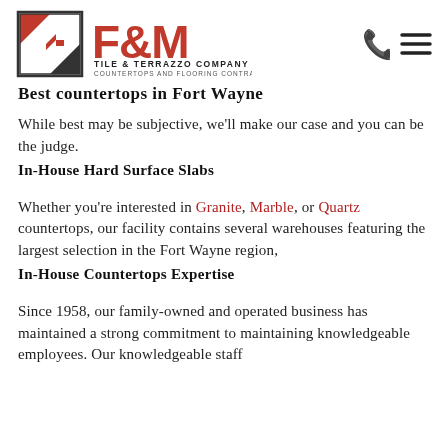[Figure (logo): F&M Tile & Terrazzo Company Inc logo with geometric diamond/arrow icon in red and black, and company name text]
Best countertops in Fort Wayne
While best may be subjective, we'll make our case and you can be the judge.
In-House Hard Surface Slabs
Whether you're interested in Granite, Marble, or Quartz countertops, our facility contains several warehouses featuring the largest selection in the Fort Wayne region,
In-House Countertops Expertise
Since 1958, our family-owned and operated business has maintained a strong commitment to maintaining knowledgeable employees. Our knowledgeable staff